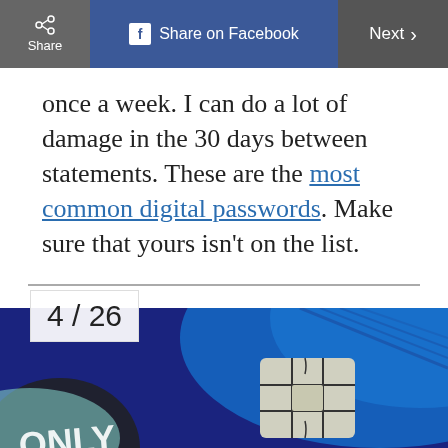Share on Facebook | Next
once a week. I can do a lot of damage in the 30 days between statements. These are the most common digital passwords. Make sure that yours isn't on the list.
[Figure (photo): Close-up photo of blue credit cards, one showing an EMV chip. The card has text 'ONLY' partially visible.]
4 / 26